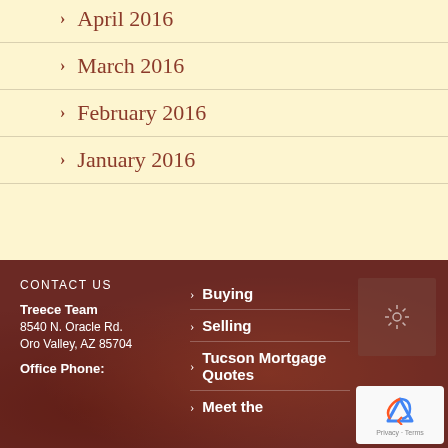April 2016
March 2016
February 2016
January 2016
CONTACT US
Treece Team
8540 N. Oracle Rd.
Oro Valley, AZ 85704
Office Phone:
Buying
Selling
Tucson Mortgage Quotes
Meet the
[Figure (other): reCAPTCHA widget with Privacy and Terms links]